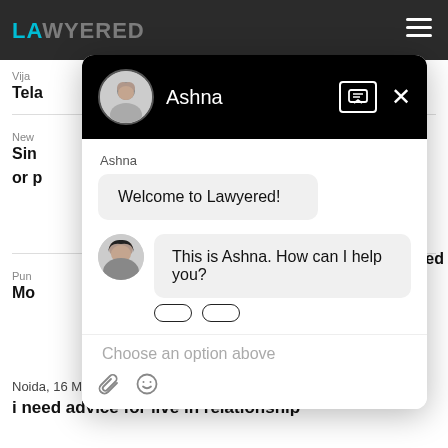[Figure (screenshot): Lawyered website with chat widget overlay showing a conversation with Ashna. The background shows a legal services website with dark top navigation bar and the Lawyered logo. A chat popup shows: 'Welcome to Lawyered!' and 'This is Ashna. How can I help you?' messages, with a 'Choose an option above' input placeholder.]
Ashna
Welcome to Lawyered!
This is Ashna. How can I help you?
Choose an option above
Noida,  16 May, 2021,  (1 year, 3 months ago)
i need advice for live in relationship